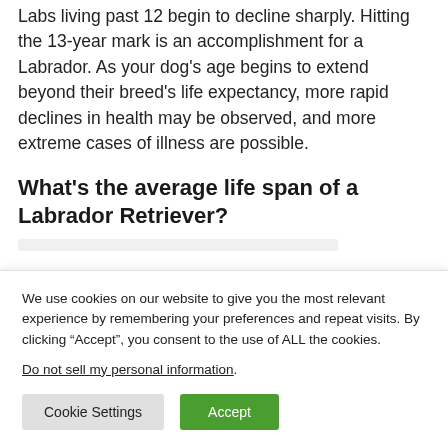Labs living past 12 begin to decline sharply. Hitting the 13-year mark is an accomplishment for a Labrador. As your dog's age begins to extend beyond their breed's life expectancy, more rapid declines in health may be observed, and more extreme cases of illness are possible.
What's the average life span of a Labrador Retriever?
We use cookies on our website to give you the most relevant experience by remembering your preferences and repeat visits. By clicking “Accept”, you consent to the use of ALL the cookies.
Do not sell my personal information.